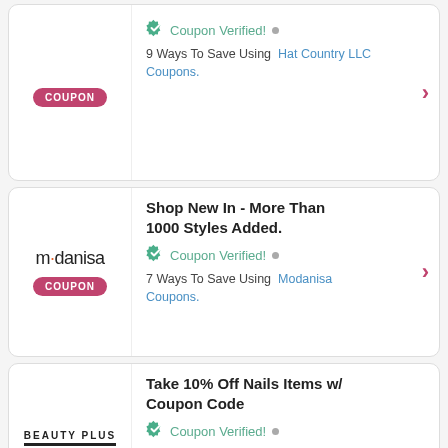Coupon Verified! • 9 Ways To Save Using Hat Country LLC Coupons. [COUPON badge]
Shop New In - More Than 1000 Styles Added. Coupon Verified! • 7 Ways To Save Using Modanisa Coupons. [modanisa logo, COUPON badge]
Take 10% Off Nails Items w/ Coupon Code. Coupon Verified! • 13 Ways To Save Using Beauty Plus Salon Coupons. [Beauty Plus Salon logo, COUPON badge]
[partial card, cut off at bottom]